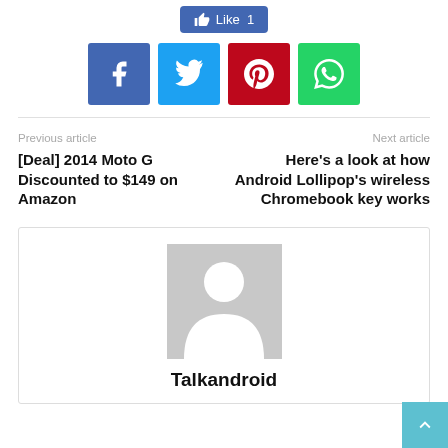[Figure (infographic): Facebook Like button showing 'Like 1' count with thumbs up icon on blue background]
[Figure (infographic): Row of four social sharing icon buttons: Facebook (dark blue), Twitter (light blue), Pinterest (red), WhatsApp (green)]
Previous article
[Deal] 2014 Moto G Discounted to $149 on Amazon
Next article
Here's a look at how Android Lollipop's wireless Chromebook key works
[Figure (illustration): Generic grey person/avatar placeholder image for author profile]
Talkandroid